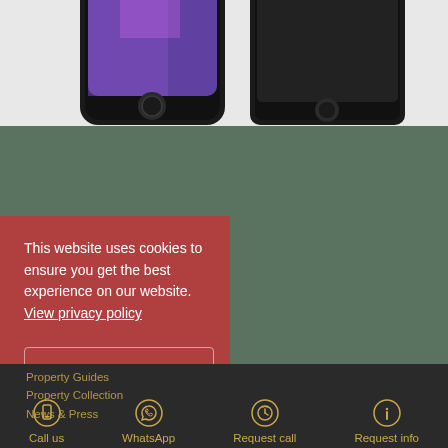[Figure (photo): Partial view of smartphone devices (iPhones) against a light gray background, showing the bottom portion of the handsets]
This website uses cookies to ensure you get the best experience on our website. View privacy policy
Accept and close
Property Guides
Property Collection
News & Press
Call us  WhatsApp  Request call  Request info